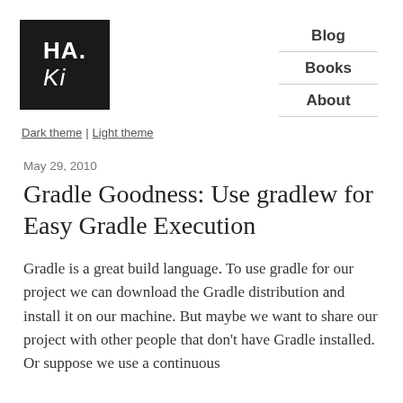[Figure (logo): HA.Ki logo — black square with white text showing HA. on top line and Ki below in italic]
Blog
Books
About
Dark theme | Light theme
May 29, 2010
Gradle Goodness: Use gradlew for Easy Gradle Execution
Gradle is a great build language. To use gradle for our project we can download the Gradle distribution and install it on our machine. But maybe we want to share our project with other people that don't have Gradle installed. Or suppose we use a continuous